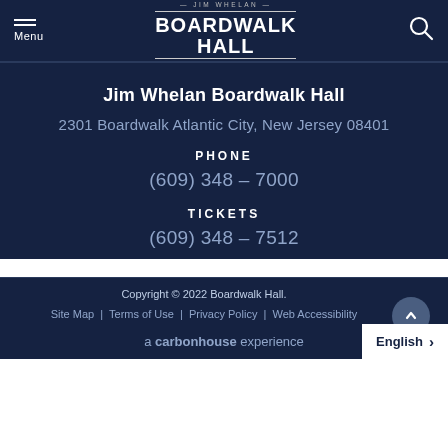JIM WHELAN BOARDWALK HALL
Jim Whelan Boardwalk Hall
2301 Boardwalk Atlantic City, New Jersey 08401
PHONE
(609) 348 - 7000
TICKETS
(609) 348 - 7512
Copyright © 2022 Boardwalk Hall. Site Map | Terms of Use | Privacy Policy | Web Accessibility
a carbonhouse experience
English